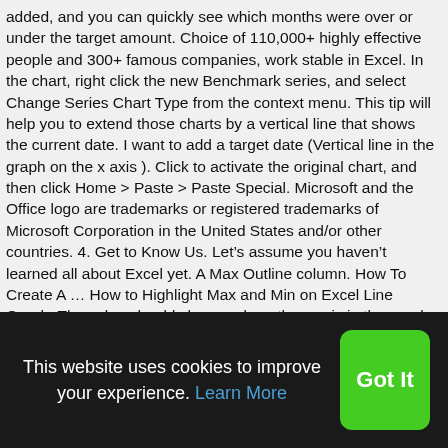added, and you can quickly see which months were over or under the target amount. Choice of 110,000+ highly effective people and 300+ famous companies, work stable in Excel. In the chart, right click the new Benchmark series, and select Change Series Chart Type from the context menu. This tip will help you to extend those charts by a vertical line that shows the current date. I want to add a target date (Vertical line in the graph on the x axis ). Click to activate the original chart, and then click Home > Paste > Paste Special. Microsoft and the Office logo are trademarks or registered trademarks of Microsoft Corporation in the United States and/or other countries. 4. Get to Know Us. Let's assume you haven't learned all about Excel yet. A Max Outline column. How To Create A … How to Highlight Max and Min on Excel Line Graph. The value should change along the x axis in the graph as the date changes. Figure 6 ➜ Plot chart in Excel. Select Y
This website uses cookies to improve your experience. Learn More